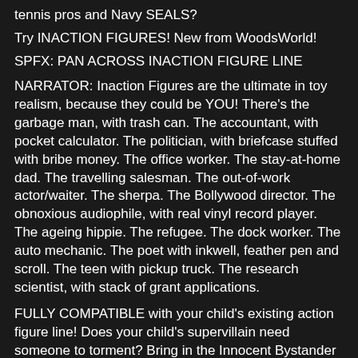tennis pros and Navy SEALS?
Try INACTION FIGURES! New from WoodsWorld!
SPFX: PAN ACROSS INACTION FIGURE LINE
NARRATOR: Inaction Figures are the ultimate in toy realism, because they could be YOU! There's the garbage man, with trash can. The accountant, with pocket calculator. The politician, with briefcase stuffed with bribe money. The office worker. The stay-at-home dad. The travelling salesman. The out-of-work actor/waiter. The sherpa. The Bollywood director. The obnoxious audiophile, with real vinyl record player. The ageing hippie. The refugee. The dock worker. The auto mechanic. The poet with inkwell, feather pen and scroll. The teen with pickup truck. The research scientist, with stack of grant applications.
FULLY COMPATIBLE with your child's existing action figure line! Does your child's supervillain need someone to torment? Bring in the Innocent Bystander Inaction Figure! Does your Captain Kirk need to put together an away team?